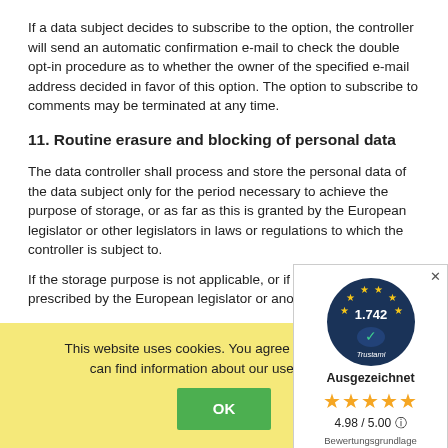If a data subject decides to subscribe to the option, the controller will send an automatic confirmation e-mail to check the double opt-in procedure as to whether the owner of the specified e-mail address decided in favor of this option. The option to subscribe to comments may be terminated at any time.
11. Routine erasure and blocking of personal data
The data controller shall process and store the personal data of the data subject only for the period necessary to achieve the purpose of storage, or as far as this is granted by the European legislator or other legislators in laws or regulations to which the controller is subject to.
If the storage purpose is not applicable, or if a storage period prescribed by the European legislator or another competent legislator expires, the personal data are routinely blocked or erased in accordance with legal requirements.
[Figure (other): Trustami trust badge widget showing a circular badge with stars, rating 1.742, text 'Trustami', label 'Ausgezeichnet', star rating, score 4.98/5.00 with info icon, and footnote text 'Bewertungsgrundlage dieses Anbieters sind 6 Verkaufs- und 5 Bewertungsplattformen']
This website uses cookies. You agree to this by using ... can find information about our use of cookies ...
OK